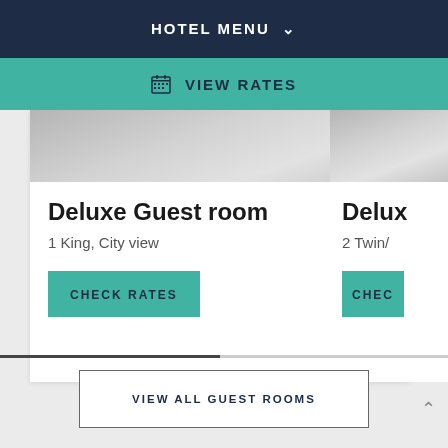HOTEL MENU
VIEW RATES
[Figure (screenshot): Hotel room image placeholder - light grey gradient background suggesting bed/room]
Deluxe Guest room
1 King, City view
CHECK RATES
Delux
2 Twin/
CHEC
VIEW ALL GUEST ROOMS